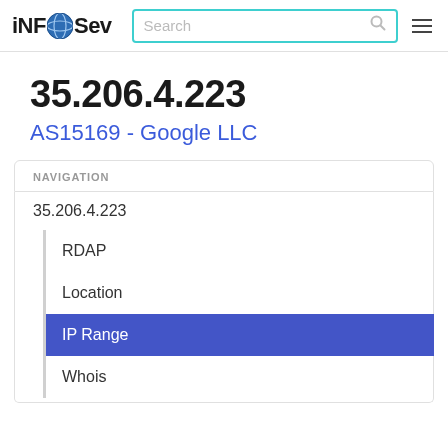iNFOSev — Search bar — Navigation menu
35.206.4.223
AS15169 - Google LLC
NAVIGATION
35.206.4.223
RDAP
Location
IP Range
Whois